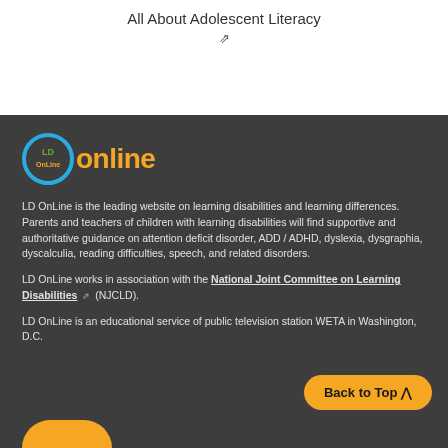All About Adolescent Literacy
[Figure (logo): LD OnLine logo: blue circle with 'LD' in green/orange text inside, followed by 'online' in orange text]
LD OnLine is the leading website on learning disabilities and learning differences. Parents and teachers of children with learning disabilities will find supportive and authoritative guidance on attention deficit disorder, ADD / ADHD, dyslexia, dysgraphia, dyscalculia, reading difficulties, speech, and related disorders.
LD OnLine works in association with the National Joint Committee on Learning Disabilities (NJCLD).
LD OnLine is an educational service of public television station WETA in Washington, D.C.